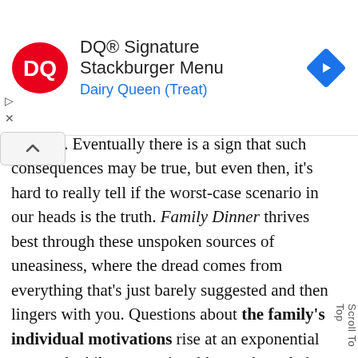[Figure (screenshot): DQ Dairy Queen advertisement banner showing DQ logo, text 'DQ® Signature Stackburger Menu' and 'Dairy Queen (Treat)', and a blue navigation arrow icon]
to leave. Eventually there is a sign that such consequences may be true, but even then, it's hard to really tell if the worst-case scenario in our heads is the truth. Family Dinner thrives best through these unspoken sources of uneasiness, where the dread comes from everything that's just barely suggested and then lingers with you. Questions about the family's individual motivations rise at an exponential rate, and while conventional horror knowledge would tell me to believe certain people over others, every possible truth leaves such a bitter taste in one's mouth that it's even harder to tell who to trust.